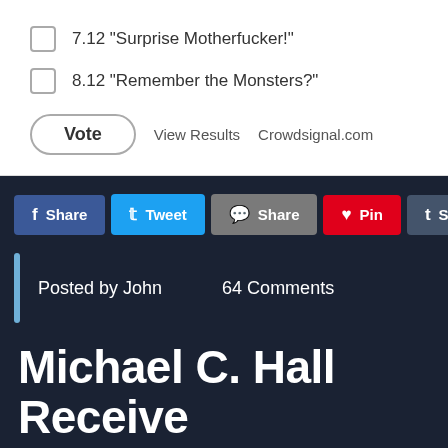7.12 "Surprise Motherfucker!"
8.12 "Remember the Monsters?"
Vote   View Results   Crowdsignal.com
Share   Tweet   Share   Pin   Share   M
Posted by John   64 Comments
Michael C. Hall Receive Ticket In Beverly Hills [T